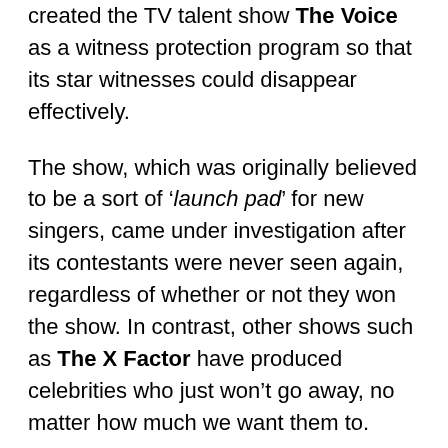created the TV talent show The Voice as a witness protection program so that its star witnesses could disappear effectively.
The show, which was originally believed to be a sort of 'launch pad' for new singers, came under investigation after its contestants were never seen again, regardless of whether or not they won the show. In contrast, other shows such as The X Factor have produced celebrities who just won't go away, no matter how much we want them to.
Even Stacey Solomon seems permanently fixed to our screens, whether she's eating kangaroo testicles in the jungle, eating unidentified testicles in Iceland...